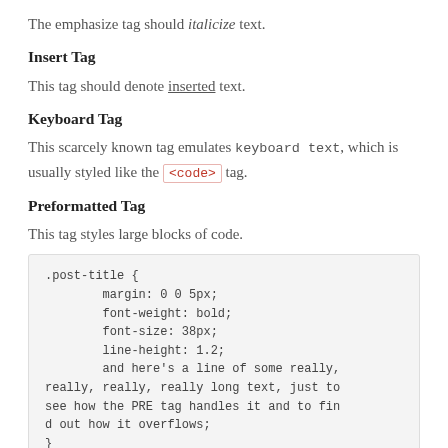The emphasize tag should italicize text.
Insert Tag
This tag should denote inserted text.
Keyboard Tag
This scarcely known tag emulates keyboard text, which is usually styled like the <code> tag.
Preformatted Tag
This tag styles large blocks of code.